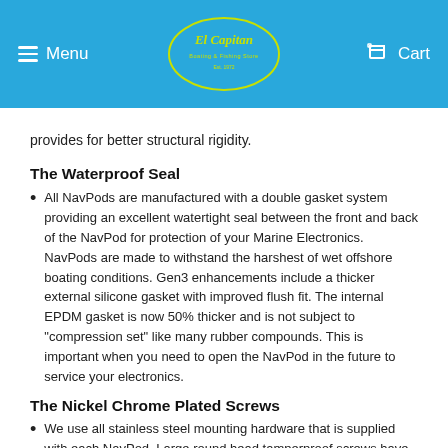Menu | El Capitan | Cart
provides for better structural rigidity.
The Waterproof Seal
All NavPods are manufactured with a double gasket system providing an excellent watertight seal between the front and back of the NavPod for protection of your Marine Electronics. NavPods are made to withstand the harshest of wet offshore boating conditions. Gen3 enhancements include a thicker external silicone gasket with improved flush fit. The internal EPDM gasket is now 50% thicker and is not subject to "compression set" like many rubber compounds. This is important when you need to open the NavPod in the future to service your electronics.
The Nickel Chrome Plated Screws
We use all stainless steel mounting hardware that is supplied with each NavPod. Large round head tamperproof screws have